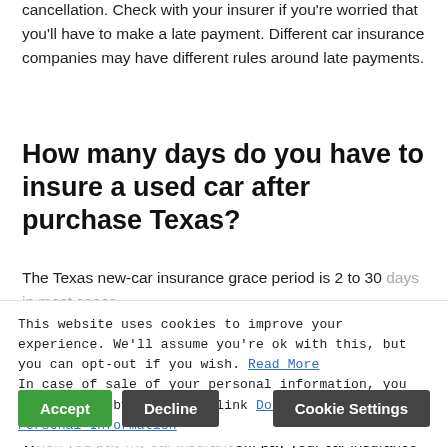cancellation. Check with your insurer if you're worried that you'll have to make a late payment. Different car insurance companies may have different rules around late payments.
How many days do you have to insure a used car after purchase Texas?
The Texas new-car insurance grace period is 2 to 30 days in most cases.
What happens if you pay your insurance a day late?
When you pay my car insurance... pay your car insurance a couple of days late, you will
This website uses cookies to improve your experience. We'll assume you're ok with this, but you can opt-out if you wish. Read More In case of sale of your personal information, you may opt out by using the link Do Not Sell My Personal Information